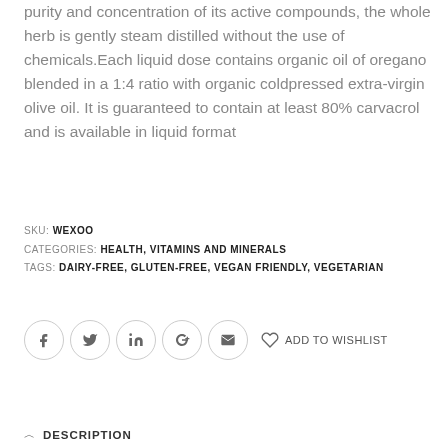purity and concentration of its active compounds, the whole herb is gently steam distilled without the use of chemicals.Each liquid dose contains organic oil of oregano blended in a 1:4 ratio with organic coldpressed extra-virgin olive oil. It is guaranteed to contain at least 80% carvacrol and is available in liquid format
SKU: WEXOO
CATEGORIES: HEALTH, VITAMINS AND MINERALS
TAGS: DAIRY-FREE, GLUTEN-FREE, VEGAN FRIENDLY, VEGETARIAN
[Figure (infographic): Row of social sharing buttons (circular bordered icons for Facebook, Twitter, LinkedIn, Google+, Email) followed by a heart icon and 'ADD TO WISHLIST' text]
DESCRIPTION